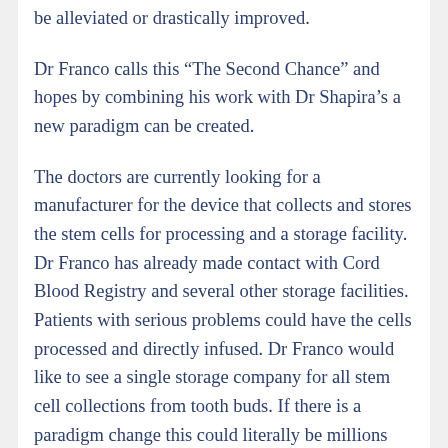be alleviated or drastically improved.
Dr Franco calls this “The Second Chance” and hopes by combining his work with Dr Shapira’s a new paradigm can be created.
The doctors are currently looking for a manufacturer for the device that collects and stores the stem cells for processing and a storage facility. Dr Franco has already made contact with Cord Blood Registry and several other storage facilities. Patients with serious problems could have the cells processed and directly infused. Dr Franco would like to see a single storage company for all stem cell collections from tooth buds. If there is a paradigm change this could literally be millions